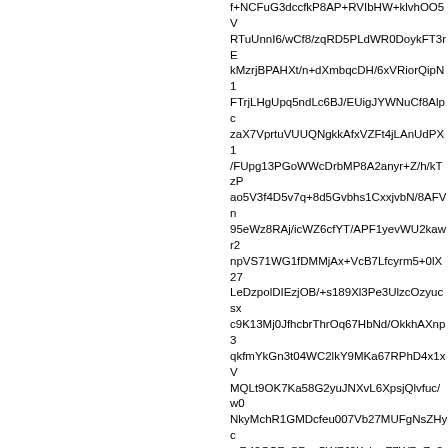f+NCFuG3dccfkP8AP+RVIbHW+klvhOO5V RTuUnnI6/wCf8/zqRD5PLdWR0DoykFT3rE kMzrjBPAHXt/n+dXmbqcDH/6xVRiorQipN1 FTrjLHgUpq5ndLc6BJ/EUigJYWNuCf8Alpc zaX7VprtuVUUQNgkkAfxVZFt4jLAnUdPX1 /FUpg13PGoWWcDrbMP8A2anyr+Z/h/kTzP ao5V3f4D5v7q+8d5Gvbhs1CxxjvbN/8AFVn 95eWz8RAj/icWZ6cfYT/APF1yevWU2kawr2 npVS71WG1fDMMjAx+VcB7Lfcyrm5+0lX27 LeDzpolDIEzjOB/+s189Xl3Pe3UlzcOzyucsx c9K13Mj0JfhcbrThrOq67HbNd/OkkhAXnp3 qkfmYkGn3t04WC2lkY9MKa67RPhD4x1xV MQLt9OK7Ka58G2yuJNXvL6XpsjQlvfuc/w0 NkyMchR1GMDcfeu007Vb27MUFgNsZHyc mR42QSZyCPzqSWZJ0KzhmZ7WPyZg2d3 kHp2P+f8mtyJg6dc5/8Ar1UBS8h+MAjpUTc 2VpNa29ws90flKpyB65NcTdeLbi7CxRlY1V KkA/MWxXKlY9blSFsoxDcrILI1K5imlB+eMB nb+v69Ty8RRud4AE+ZSCpGd2fbrVS4dnlC potvHtXzLphvVT0A9T+XT/J1QGB/wn+qrwh Fz36G+Qcsefu+lNQBpFbtg4yaYyMAhVHTt yvNAxfmynIPPTHv/AJ/yaTcQqq3GT6/5/wAj KjT/AFr/AlfyqhEh4pMjkZqxjT0qvP8AdJx2oh kr/n/P8A9auy+EwP/CFyBl/5bvyB70p/CB19 4pQBGfrKv9jYhsYUHI/z/n8q521Z2mAJz8ve aSM8GeMLnpUG9Y3J6dxVASM8htD7mn7 61unlyP8/wCf8+IZGxGoPBxmnrjbnpg96AE z+NDEsSMcZ/x/wA/5FADsCMt6Clz8ueQPp olsZCJF/hPb/AD/npVLSNq6q3BwR+NluSso PnSMvbRz36/5+v8AnNMGP3YiJ6e1IckHYI